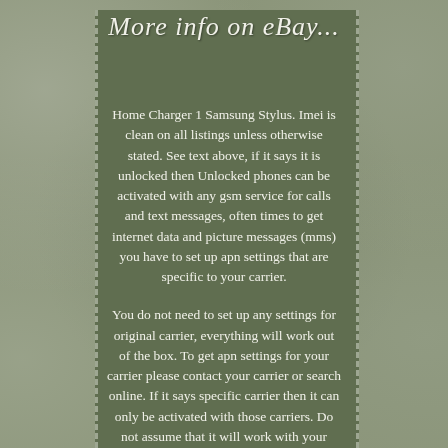More info on eBay...
Home Charger 1 Samsung Stylus. Imei is clean on all listings unless otherwise stated. See text above, if it says it is unlocked then Unlocked phones can be activated with any gsm service for calls and text messages, often times to get internet data and picture messages (mms) you have to set up apn settings that are specific to your carrier.
You do not need to set up any settings for original carrier, everything will work out of the box. To get apn settings for your carrier please contact your carrier or search online. If it says specific carrier then it can only be activated with those carriers. Do not assume that it will work with your carrier unless stated. The item "Excellent Unlocked Samsung Galaxy Note 8 N950N N950U1 Black AT&T TMobile Cricket" is in sale since Monday, July 1, 2019.